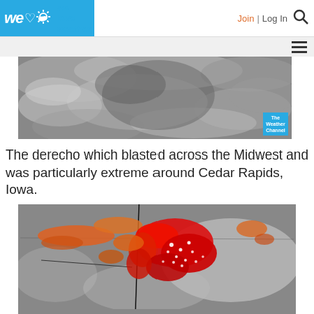we love weather | Join | Log In
[Figure (photo): Black and white satellite image of cloud formation from a derecho storm system over the Midwest, with The Weather Channel logo badge in bottom right corner.]
The derecho which blasted across the Midwest and was particularly extreme around Cedar Rapids, Iowa.
[Figure (photo): Satellite radar image showing derecho storm system over the Midwest with red and orange colors indicating intense precipitation and storm activity over Iowa and surrounding states, with lightning strike markers shown as white dots.]